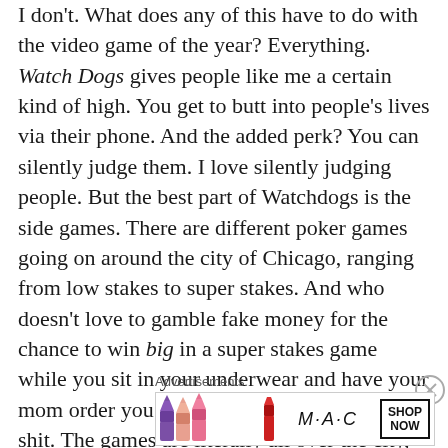I don't.  What does any of this have to do with the video game of the year?  Everything.  Watch Dogs gives people like me a certain kind of high.  You get to butt into people's lives via their phone.  And the added perk?  You can silently judge them.  I love silently judging people.  But the best part of Watchdogs is the side games.  There are different poker games going on around the city of Chicago, ranging from low stakes to super stakes.  And who doesn't love to gamble fake money for the chance to win big in a super stakes game while you sit in your underwear and have your mom order you a pizza?  Everyone loves that shit.  The games are literally all over the city, so you have to find a way there.  Most gamers drive, I'm sure, but remember how I don't play games or understand the controls?  Let's be honest, I run to poker.  It's laughable sure, but I work hard for my fake money.  –
Advertisements
[Figure (other): MAC cosmetics advertisement banner showing lipsticks in purple, peach, and pink colors with MAC logo and SHOP NOW button]